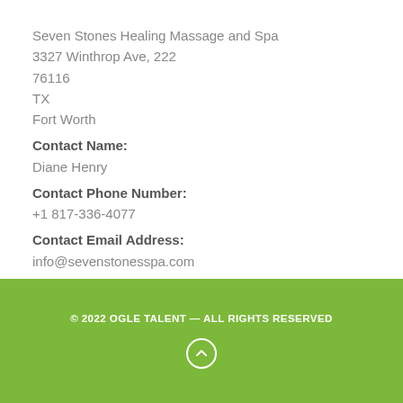Seven Stones Healing Massage and Spa
3327 Winthrop Ave, 222
76116
TX
Fort Worth
Contact Name:
Diane Henry
Contact Phone Number:
+1 817-336-4077
Contact Email Address:
info@sevenstonesspa.com
© 2022 OGLE TALENT — ALL RIGHTS RESERVED